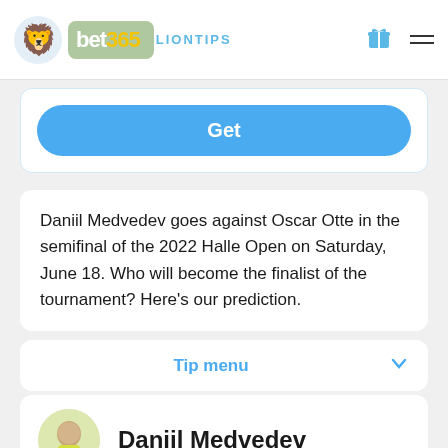bet365 LIONTIPS
Get
Daniil Medvedev goes against Oscar Otte in the semifinal of the 2022 Halle Open on Saturday, June 18. Who will become the finalist of the tournament? Here's our prediction.
Tip menu
Daniil Medvedev
Daniil Medvedev hasn't surrended a single set in Halle so far. The Russian athlete defeated David Goffin (6-3,